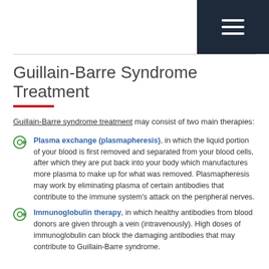Navigation menu icon
Guillain-Barre Syndrome Treatment
Guillain-Barre syndrome treatment may consist of two main therapies:
Plasma exchange (plasmapheresis), in which the liquid portion of your blood is first removed and separated from your blood cells, after which they are put back into your body which manufactures more plasma to make up for what was removed. Plasmapheresis may work by eliminating plasma of certain antibodies that contribute to the immune system's attack on the peripheral nerves.
Immunoglobulin therapy, in which healthy antibodies from blood donors are given through a vein (intravenously). High doses of immunoglobulin can block the damaging antibodies that may contribute to Guillain-Barre syndrome.